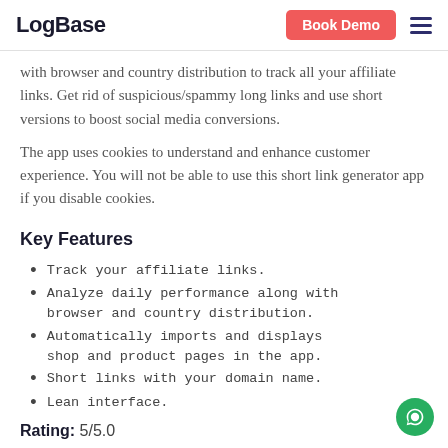LogBase | Book Demo
with browser and country distribution to track all your affiliate links. Get rid of suspicious/spammy long links and use short versions to boost social media conversions.
The app uses cookies to understand and enhance customer experience. You will not be able to use this short link generator app if you disable cookies.
Key Features
Track your affiliate links.
Analyze daily performance along with browser and country distribution.
Automatically imports and displays shop and product pages in the app.
Short links with your domain name.
Lean interface.
Rating: 5/5.0